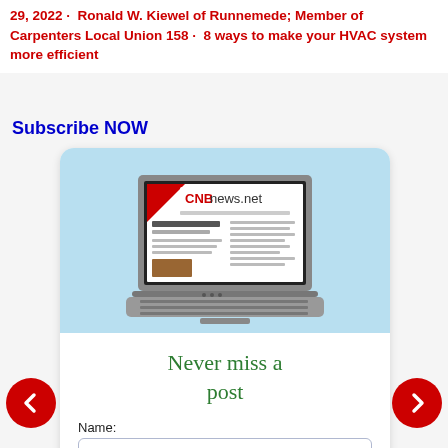29, 2022 · Ronald W. Kiewel of Runnemede; Member of Carpenters Local Union 158 · 8 ways to make your HVAC system more efficient
Subscribe NOW
[Figure (screenshot): Illustration of a laptop computer displaying the CNBnews.net website, on a light blue background, inside a rounded white card widget.]
Never miss a post
Name:
Please introduce yourself
Your email address:*